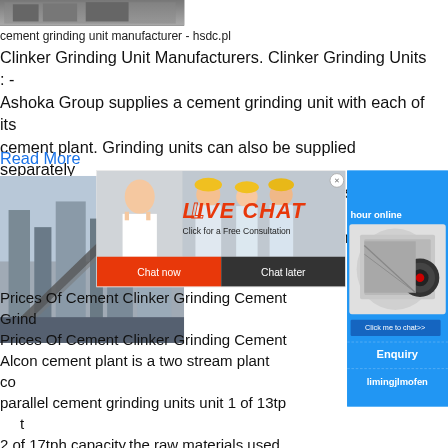[Figure (photo): Industrial conveyor/facility photograph cropped at top]
cement grinding unit manufacturer - hsdc.pl
Clinker Grinding Unit Manufacturers. Clinker Grinding Units : - Ashoka Group supplies a cement grinding unit with each of its cement plant. Grinding units can also be supplied separately for other cement plants. We supply grinding units upto 2000 TPD plants, capable of handling all types of cement.
Read More
[Figure (screenshot): Live chat popup overlay with workers in hard hats, showing LIVE CHAT headline, Click for a Free Consultation text, Chat now (red) and Chat later (dark) buttons]
[Figure (photo): Industrial facility/conveyor belt photo on left side]
[Figure (photo): Right sidebar with blue background showing hour online text, crusher machine image, Click me to chat>> button, Enquiry button, limingjlmofen button]
Prices Of Cement Clinker Grinding Cement Grind
Prices Of Cement Clinker Grinding Cement
Alcon cement plant is a two stream plant capable of parallel cement grinding units unit 1 of 13tp unit 2 of 17tph capacity.the raw materials used manufacture of cement are clinker slag and